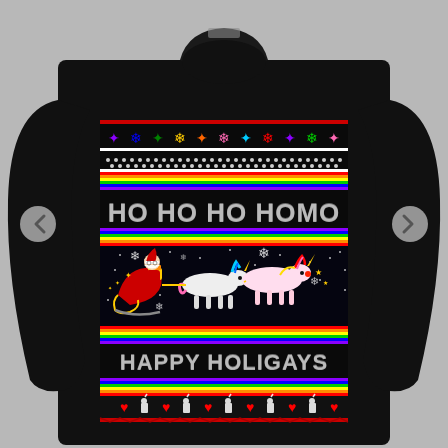[Figure (photo): A black ugly Christmas sweater/sweatshirt featuring a holiday design on a dark (near-black) background. The sweater design includes: multicolor snowflakes in purple, teal, green, yellow, orange, pink across the top; rainbow horizontal stripes (red, orange, yellow, green, blue, purple); a row of white dots/polka dots; large gray metallic text reading 'HO HO HO HOMO'; a scene of Santa Claus in a red sleigh being pulled by two unicorns (one blue/cyan, one pink) flying through a starry black sky with white snowflakes; another rainbow stripe; large gray metallic text reading 'HAPPY HOLIGAYS'; another rainbow stripe; a bottom border with alternating red hearts and small unicorn figures; and a red zigzag border at the very bottom. Navigation arrows (left/right chevrons) appear on the sides of the image outside the sweatshirt.]